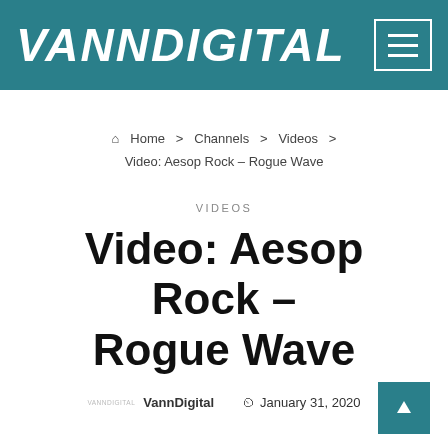VANNDIGITAL
Home > Channels > Videos > Video: Aesop Rock – Rogue Wave
VIDEOS
Video: Aesop Rock – Rogue Wave
VannDigital   January 31, 2020